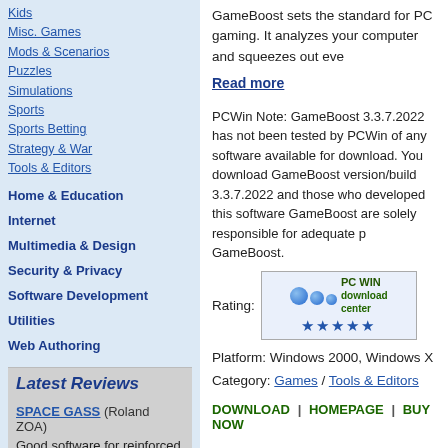Kids
Misc. Games
Mods & Scenarios
Puzzles
Simulations
Sports
Sports Betting
Strategy & War
Tools & Editors
Home & Education
Internet
Multimedia & Design
Security & Privacy
Software Development
Utilities
Web Authoring
Latest Reviews
SPACE GASS (Roland ZOA)
Good software for reinforced concrete design. I need it for my work
Published: Nov 20, 2021
EASERA SysTune (James Kang)
It's very good for real-time measurement, the use of this software
GameBoost sets the standard for PC gaming. It analyzes your computer and squeezes out eve
Read more
PCWin Note: GameBoost 3.3.7.2022 has not been tested by PCWin of any software available for download. You download GameBoost version/build 3.3.7.2022 and those who developed this software GameBoost are solely responsible for adequate p GameBoost.
Rating:
Platform: Windows 2000, Windows X
Category: Games / Tools & Editors
DOWNLOAD | HOMEPAGE | BUY NOW